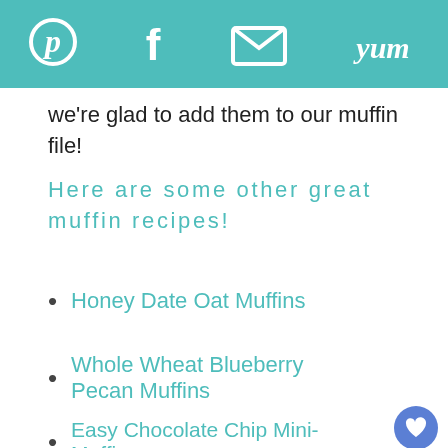[Social share bar: Pinterest, Facebook, Email, Yum icons]
we're glad to add them to our muffin file!
Here are some other great muffin recipes!
Honey Date Oat Muffins
Whole Wheat Blueberry Pecan Muffins
Easy Chocolate Chip Mini-Muffins
[Figure (photo): Bottom partial image of muffins in a pan, circular crop]
[Figure (screenshot): Advertisement banner: Dave Thomas Foundation for Adoption - 'I moved a bunch. I didn't want to move that much.']